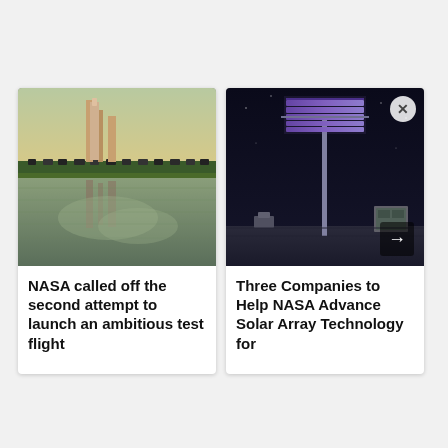[Figure (photo): NASA rocket on launch pad reflected in water with clouds in sky]
NASA called off the second attempt to launch an ambitious test flight
[Figure (photo): Solar array panel on a tall pole illuminated with purple/blue light against dark night sky]
Three Companies to Help NASA Advance Solar Array Technology for